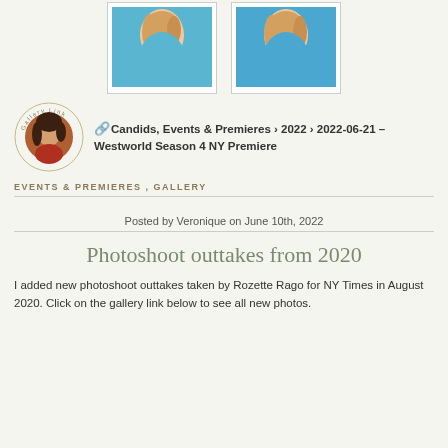[Figure (photo): Two thumbnail photos of a woman with curly blonde hair wearing a blue dress, shown from shoulders up, framed with white photo-mat borders]
[Figure (infographic): Gallery link block with circular avatar photo of a dark-haired woman in red top, surrounded by 'Gallery Link' circular text label, next to breadcrumb text: Candids, Events & Premieres > 2022 > 2022-06-21 – Westworld Season 4 NY Premiere]
EVENTS & PREMIERES , GALLERY
Posted by Veronique on June 10th, 2022
Photoshoot outtakes from 2020
I added new photoshoot outtakes taken by Rozette Rago for NY Times in August 2020. Click on the gallery link below to see all new photos.